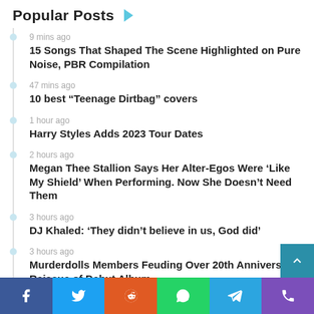Popular Posts
9 mins ago
15 Songs That Shaped The Scene Highlighted on Pure Noise, PBR Compilation
47 mins ago
10 best “Teenage Dirtbag” covers
1 hour ago
Harry Styles Adds 2023 Tour Dates
2 hours ago
Megan Thee Stallion Says Her Alter-Egos Were ‘Like My Shield’ When Performing. Now She Doesn’t Need Them
3 hours ago
DJ Khaled: ‘They didn’t believe in us, God did’
3 hours ago
Murderdolls Members Feuding Over 20th Anniversary Reissue of Debut Album